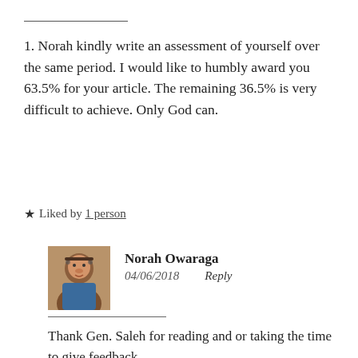1. Norah kindly write an assessment of yourself over the same period. I would like to humbly award you 63.5% for your article. The remaining 36.5% is very difficult to achieve. Only God can.
★ Liked by 1 person
Norah Owaraga 04/06/2018 Reply
Thank Gen. Saleh for reading and or taking the time to give feedback.